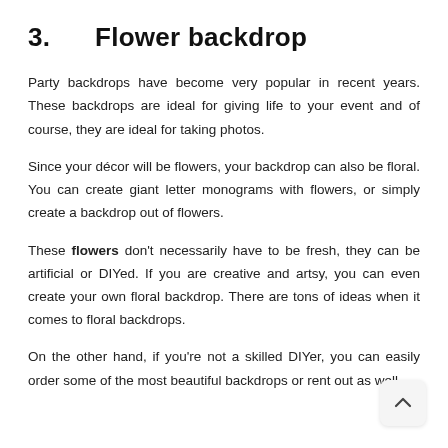3.    Flower backdrop
Party backdrops have become very popular in recent years. These backdrops are ideal for giving life to your event and of course, they are ideal for taking photos.
Since your décor will be flowers, your backdrop can also be floral. You can create giant letter monograms with flowers, or simply create a backdrop out of flowers.
These flowers don't necessarily have to be fresh, they can be artificial or DIYed. If you are creative and artsy, you can even create your own floral backdrop. There are tons of ideas when it comes to floral backdrops.
On the other hand, if you're not a skilled DIYer, you can easily order some of the most beautiful backdrops or rent out as well.